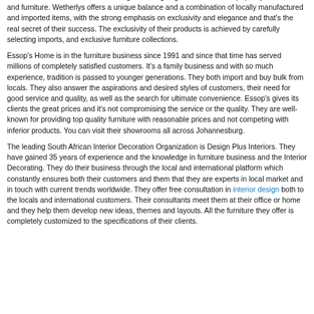brand which sets the trends in making and designing innovative and top quality accessories and furniture. Wetherlys offers a unique balance and a combination of locally manufactured and imported items, with the strong emphasis on exclusivity and elegance and that's the real secret of their success. The exclusivity of their products is achieved by carefully selecting imports, and exclusive furniture collections.
Essop's Home is in the furniture business since 1991 and since that time has served millions of completely satisfied customers. It's a family business and with so much experience, tradition is passed to younger generations. They both import and buy bulk from locals. They also answer the aspirations and desired styles of customers, their need for good service and quality, as well as the search for ultimate convenience. Essop's gives its clients the great prices and it's not compromising the service or the quality. They are well-known for providing top quality furniture with reasonable prices and not competing with inferior products. You can visit their showrooms all across Johannesburg.
The leading South African Interior Decoration Organization is Design Plus Interiors. They have gained 35 years of experience and the knowledge in furniture business and the Interior Decorating. They do their business through the local and international platform which constantly ensures both their customers and them that they are experts in local market and in touch with current trends worldwide. They offer free consultation in interior design both to the locals and international customers. Their consultants meet them at their office or home and they help them develop new ideas, themes and layouts. All the furniture they offer is completely customized to the specifications of their clients.